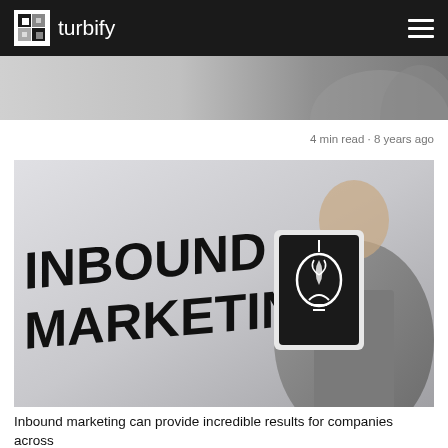turbify
[Figure (photo): Cropped top portion of a person in a suit, partially visible]
4 min read · 8 years ago
[Figure (photo): Black and white photo of a man in a suit holding a tablet showing a lightbulb, with large bold text reading INBOUND MARKETING on the left side]
Inbound marketing can provide incredible results for companies across